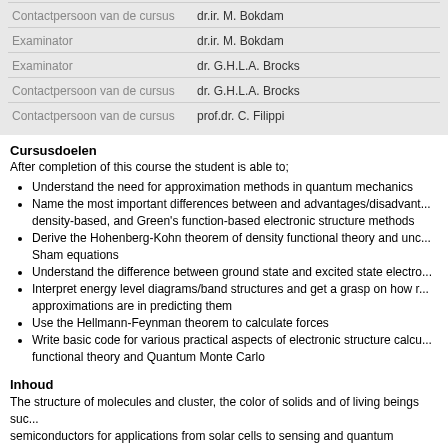| Role | Person |
| --- | --- |
| Contactpersoon van de cursus | dr.ir. M. Bokdam |
| Examinator | dr.ir. M. Bokdam |
| Examinator | dr. G.H.L.A. Brocks |
| Contactpersoon van de cursus | dr. G.H.L.A. Brocks |
| Contactpersoon van de cursus | prof.dr. C. Filippi |
Cursusdoelen
After completion of this course the student is able to;
Understand the need for approximation methods in quantum mechanics
Name the most important differences between and advantages/disadvantages of wave-function-based, density-based, and Green's function-based electronic structure methods
Derive the Hohenberg-Kohn theorem of density functional theory and understand the Kohn-Sham equations
Understand the difference between ground state and excited state electronic structure methods
Interpret energy level diagrams/band structures and get a grasp on how reliable various approximations are in predicting them
Use the Hellmann-Feynman theorem to calculate forces
Write basic code for various practical aspects of electronic structure calculations using density functional theory and Quantum Monte Carlo
Inhoud
The structure of molecules and cluster, the color of solids and of living beings such as photosynthetic semiconductors for applications from solar cells to sensing and quantum information, transition metal compounds, the temperature-dependence of structural, optoelectronic, and therm...